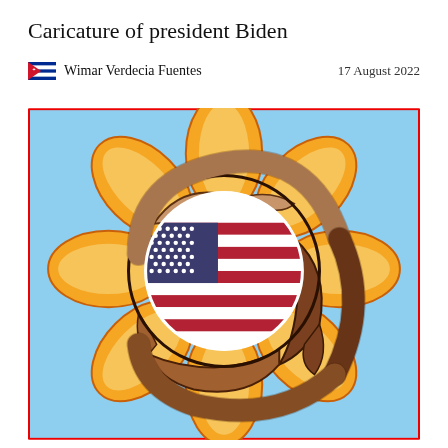Caricature of president Biden
Wimar Verdecia Fuentes    17 August 2022
[Figure (illustration): Caricature illustration showing three hands of different skin tones arranged in a circular pattern around a circular American flag (with blue canton, white stars, and red and white stripes), set against a large sunflower with orange and yellow petals on a light blue background. The image is bordered by a thin red rectangle.]